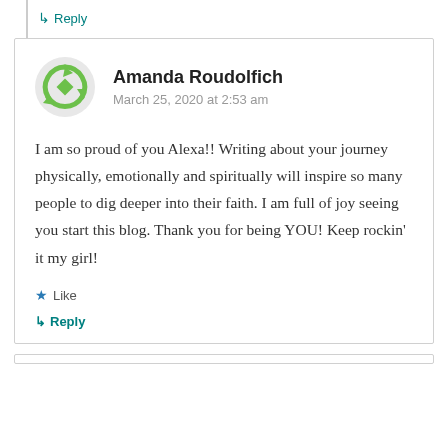↳ Reply
Amanda Roudolfich
March 25, 2020 at 2:53 am
I am so proud of you Alexa!! Writing about your journey physically, emotionally and spiritually will inspire so many people to dig deeper into their faith. I am full of joy seeing you start this blog. Thank you for being YOU! Keep rockin' it my girl!
Like
↳ Reply